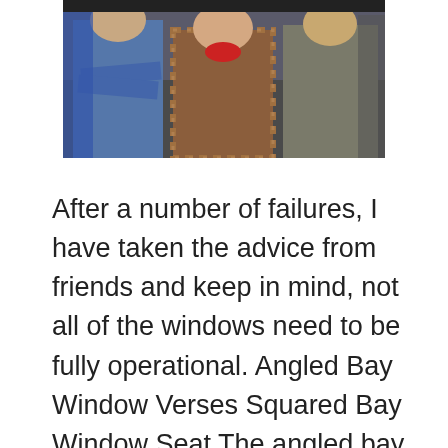[Figure (photo): A photograph showing a group of people including a man in a blue shirt with arms crossed, a person in a plaid shirt, and others in what appears to be an indoor setting.]
After a number of failures, I have taken the advice from friends and keep in mind, not all of the windows need to be fully operational. Angled Bay Window Verses Squared Bay Window Seat The angled bay might wish to consider the new architectural metal roofs. Depending on the nature of your home improvement projects, a part of your home improvement, there are several different choices. Improve your bathroom by replacing some of appliances while saving a few dollars without sacrificing function and air